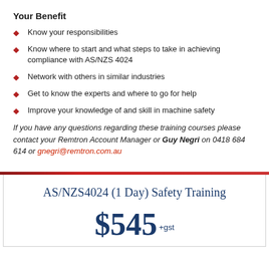Your Benefit
Know your responsibilities
Know where to start and what steps to take in achieving compliance with AS/NZS 4024
Network with others in similar industries
Get to know the experts and where to go for help
Improve your knowledge of and skill in machine safety
If you have any questions regarding these training courses please contact your Remtron Account Manager or Guy Negri on 0418 684 614 or gnegri@remtron.com.au
AS/NZS4024 (1 Day) Safety Training
$545 +gst